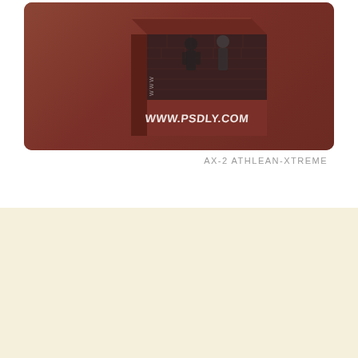[Figure (photo): A 3D box product mockup for AX-2 Athlean-Xtreme fitness program on a brown/dark red background. The box shows fitness imagery with people training against a brick wall, with the text WWW.PSDLY.COM printed on it. The box has a front face and visible side panel.]
AX-2 ATHLEAN-XTREME